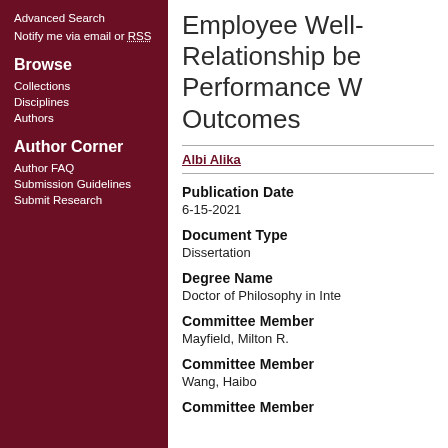Advanced Search
Notify me via email or RSS
Browse
Collections
Disciplines
Authors
Author Corner
Author FAQ
Submission Guidelines
Submit Research
Employee Well- Relationship be Performance W Outcomes
Albi Alika
Publication Date
6-15-2021
Document Type
Dissertation
Degree Name
Doctor of Philosophy in Inte
Committee Member
Mayfield, Milton R.
Committee Member
Wang, Haibo
Committee Member